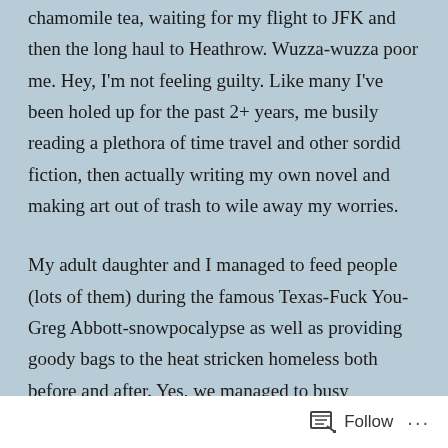chamomile tea, waiting for my flight to JFK and then the long haul to Heathrow. Wuzza-wuzza poor me. Hey, I'm not feeling guilty. Like many I've been holed up for the past 2+ years, me busily reading a plethora of time travel and other sordid fiction, then actually writing my own novel and making art out of trash to wile away my worries.
My adult daughter and I managed to feed people (lots of them) during the famous Texas-Fuck You-Greg Abbott-snowpocalypse as well as providing goody bags to the heat stricken homeless both before and after. Yes, we managed to busy ourselves helping others during Covid. We were lucky to have had the resources.
Follow ···